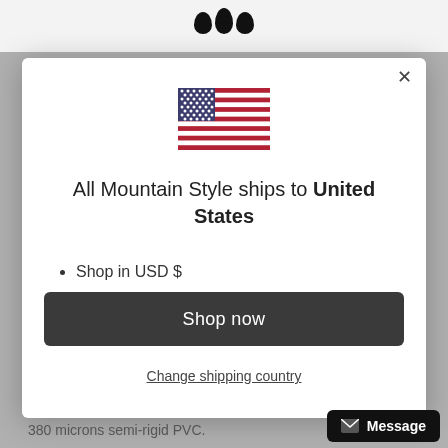[Figure (logo): All Mountain Style logo — three black dots/circles at top center of page]
[Figure (illustration): United States flag SVG illustration]
All Mountain Style ships to United States
Shop in USD $
Get shipping options for United States
Shop now
Change shipping country
380 microns semi-rigid PVC.
Message